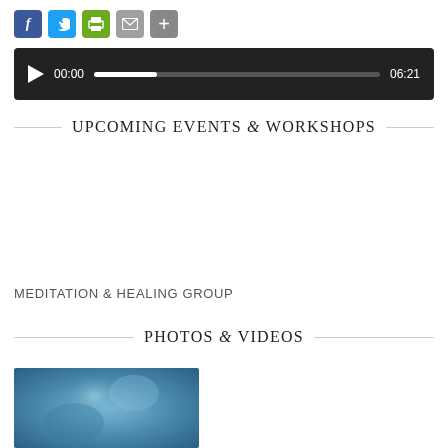[Figure (other): Social media sharing icons: Facebook (blue), Twitter (blue), Print (green), Email (gray), Share (gray plus sign)]
[Figure (other): Audio player with play button, timestamp 00:00, progress bar, and end time 06:21 on dark background]
UPCOMING EVENTS & WORKSHOPS
MEDITATION & HEALING GROUP
PHOTOS & VIDEOS
[Figure (photo): Blue-toned blurry photo, partial view at bottom of page]